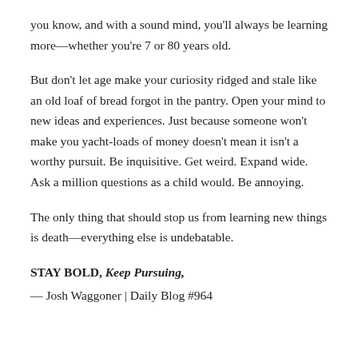you know, and with a sound mind, you'll always be learning more—whether you're 7 or 80 years old.
But don't let age make your curiosity ridged and stale like an old loaf of bread forgot in the pantry. Open your mind to new ideas and experiences. Just because someone won't make you yacht-loads of money doesn't mean it isn't a worthy pursuit. Be inquisitive. Get weird. Expand wide. Ask a million questions as a child would. Be annoying.
The only thing that should stop us from learning new things is death—everything else is undebatable.
STAY BOLD, Keep Pursuing,
— Josh Waggoner | Daily Blog #964